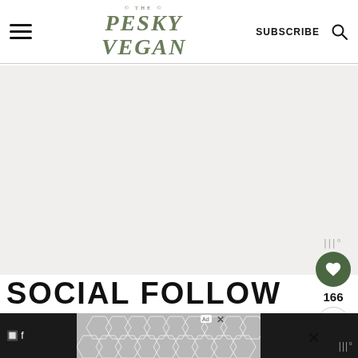THE PESKY VEGAN | SUBSCRIBE
[Figure (illustration): Light gray/off-white content area placeholder below the header navigation]
SOCIAL FOLLOW
[Figure (infographic): Floating action buttons: fork icon, green heart save button, 166 count, share button]
[Figure (other): Bottom dark bar with partial text and advertisement banner with hexagon pattern, close buttons]